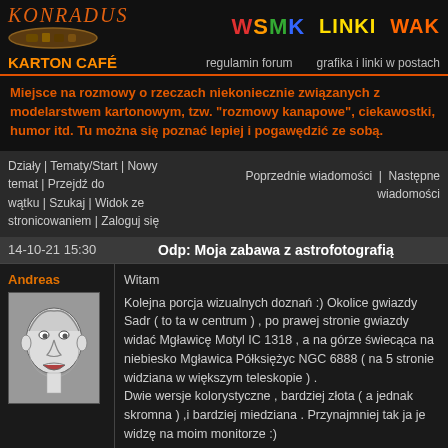KONRADUS | WSMK | LINKI | WAK
KARTON CAFÉ | regulamin forum | grafika i linki w postach
Miejsce na rozmowy o rzeczach niekoniecznie związanych z modelarstwem kartonowym, tzw. "rozmowy kanapowe", ciekawostki, humor itd. Tu można się poznać lepiej i pogawędzić ze sobą.
Działy | Tematy/Start | Nowy temat | Przejdź do wątku | Szukaj | Widok ze stronicowaniem | Zaloguj się   Poprzednie wiadomości | Następne wiadomości
14-10-21 15:30    Odp: Moja zabawa z astrofotografią
Andreas
[Figure (illustration): Cartoon/caricature sketch of a person's face in black and white]
Witam
Kolejna porcja wizualnych doznań :) Okolice gwiazdy Sadr ( to ta w centrum ) , po prawej stronie gwiazdy widać Mgławicę Motyl IC 1318 , a na górze świecąca na niebiesko Mgławica Półksiężyc NGC 6888 ( na 5 stronie widziana w większym teleskopie ) .
Dwie wersje kolorystyczne , bardziej złota ( a jednak skromna ) ,i bardziej miedziana . Przynajmniej tak ja je widzę na moim monitorze :)
Na Forum: